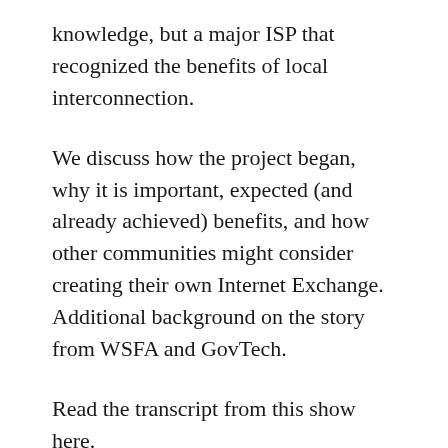knowledge, but a major ISP that recognized the benefits of local interconnection.
We discuss how the project began, why it is important, expected (and already achieved) benefits, and how other communities might consider creating their own Internet Exchange. Additional background on the story from WSFA and GovTech.
Read the transcript from this show here.
We want your feedback and suggestions for the show – please e-mail us or leave a comment below.